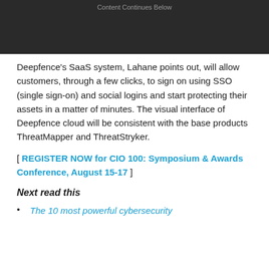[Figure (other): Dark gray advertisement banner with 'Content Continues Below' text]
Deepfence's SaaS system, Lahane points out, will allow customers, through a few clicks, to sign on using SSO (single sign-on) and social logins and start protecting their assets in a matter of minutes. The visual interface of Deepfence cloud will be consistent with the base products ThreatMapper and ThreatStryker.
[ REGISTER NOW for CIO 100: Symposium & Awards Conference, August 15-17 ]
Next read this
The 10 most powerful cybersecurity